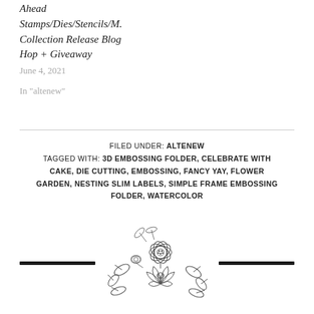Ahead Stamps/Dies/Stencils/M. Collection Release Blog Hop + Giveaway
June 4, 2021
In "altenew"
FILED UNDER: ALTENEW
TAGGED WITH: 3D EMBOSSING FOLDER, CELEBRATE WITH CAKE, DIE CUTTING, EMBOSSING, FANCY YAY, FLOWER GARDEN, NESTING SLIM LABELS, SIMPLE FRAME EMBOSSING FOLDER, WATERCOLOR
[Figure (illustration): Decorative floral divider with line-art flowers (anemones, roses, leaves) centered between two thick horizontal black bars]